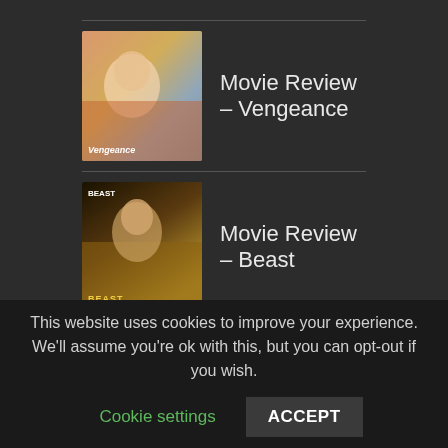Movie Review – Vengeance
Movie Review – Beast
Movie Review – Emily the Criminal
This website uses cookies to improve your experience. We'll assume you're ok with this, but you can opt-out if you wish.
Cookie settings
ACCEPT